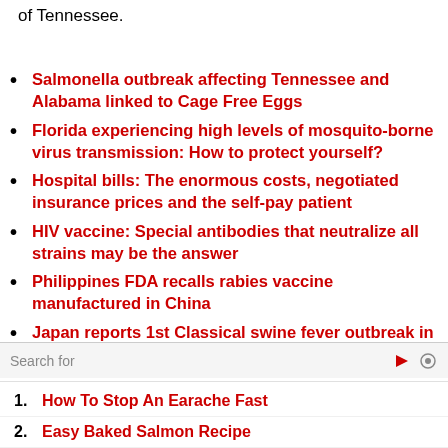of Tennessee.
Salmonella outbreak affecting Tennessee and Alabama linked to Cage Free Eggs
Florida experiencing high levels of mosquito-borne virus transmission: How to protect yourself?
Hospital bills: The enormous costs, negotiated insurance prices and the self-pay patient
HIV vaccine: Special antibodies that neutralize all strains may be the answer
Philippines FDA recalls rabies vaccine manufactured in China
Japan reports 1st Classical swine fever outbreak in a quarter century
Search for
How To Stop An Earache Fast
Easy Baked Salmon Recipe